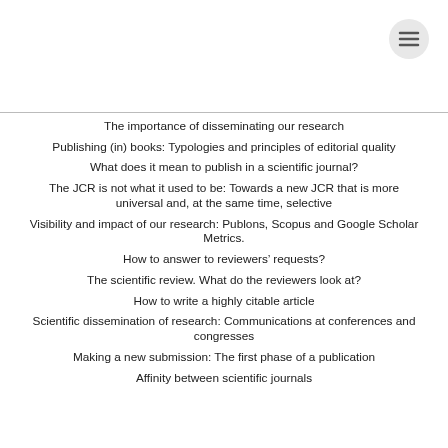[Figure (other): Hamburger menu icon (three horizontal lines) in a circle, top right corner]
The importance of disseminating our research
Publishing (in) books: Typologies and principles of editorial quality
What does it mean to publish in a scientific journal?
The JCR is not what it used to be: Towards a new JCR that is more universal and, at the same time, selective
Visibility and impact of our research: Publons, Scopus and Google Scholar Metrics.
How to answer to reviewers’ requests?
The scientific review. What do the reviewers look at?
How to write a highly citable article
Scientific dissemination of research: Communications at conferences and congresses
Making a new submission: The first phase of a publication
Affinity between scientific journals